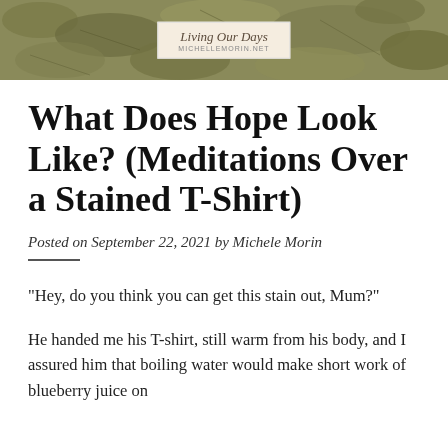[Figure (photo): Header image with earthy/nature texture background (dried leaves in muted green/brown tones) and a centered logo box reading 'Living Our Days' with a website subtitle below]
What Does Hope Look Like? (Meditations Over a Stained T-Shirt)
Posted on September 22, 2021 by Michele Morin
“Hey, do you think you can get this stain out, Mum?”
He handed me his T-shirt, still warm from his body, and I assured him that boiling water would make short work of blueberry juice on